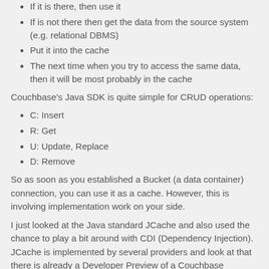If it is there, then use it
If is not there then get the data from the source system (e.g. relational DBMS)
Put it into the cache
The next time when you try to access the same data, then it will be most probably in the cache
Couchbase's Java SDK is quite simple for CRUD operations:
C: Insert
R: Get
U: Update, Replace
D: Remove
So as soon as you established a Bucket (a data container) connection, you can use it as a cache. However, this is involving implementation work on your side.
I just looked at the Java standard JCache and also used the chance to play a bit around with CDI (Dependency Injection). JCache is implemented by several providers and look at that there is already a Developer Preview of a Couchbase implementation available (it's also possible to use...